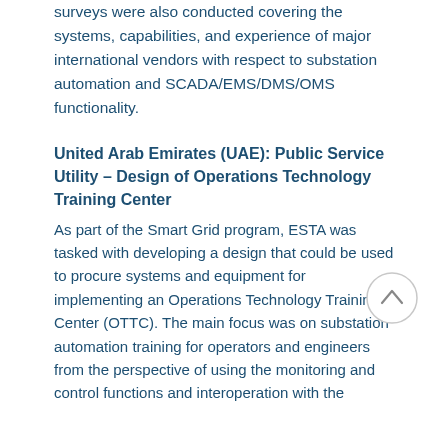surveys were also conducted covering the systems, capabilities, and experience of major international vendors with respect to substation automation and SCADA/EMS/DMS/OMS functionality.
United Arab Emirates (UAE): Public Service Utility – Design of Operations Technology Training Center
As part of the Smart Grid program, ESTA was tasked with developing a design that could be used to procure systems and equipment for implementing an Operations Technology Training Center (OTTC). The main focus was on substation automation training for operators and engineers from the perspective of using the monitoring and control functions and interoperation with the
[Figure (other): A circular scroll-to-top navigation button with an upward-pointing chevron icon, light gray border on white background.]